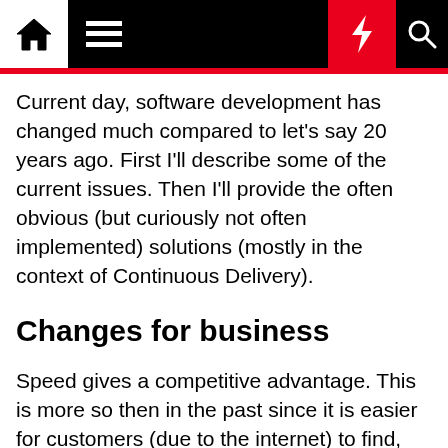Navigation bar with home, menu, bolt, and search icons
Current day, software development has changed much compared to let's say 20 years ago. First I'll describe some of the current issues. Then I'll provide the often obvious (but curiously not often implemented) solutions (mostly in the context of Continuous Delivery).
Changes for business
Speed gives a competitive advantage. This is more so then in the past since it is easier for customers (due to the internet) to find, compare and go to competitors. It has become normal to not go to the local store anymore by default. Especially since customers start to realize they can save money by switching regularly. For governments, speed is important to be able to quickly implement new